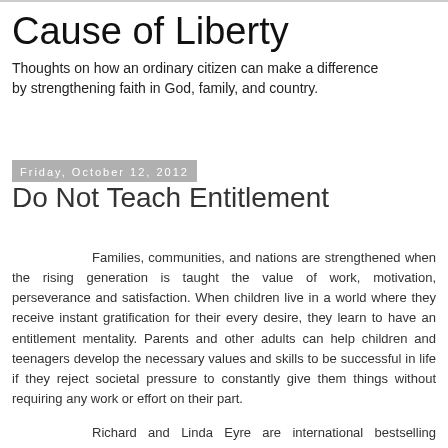Cause of Liberty
Thoughts on how an ordinary citizen can make a difference by strengthening faith in God, family, and country.
Friday, October 12, 2012
Do Not Teach Entitlement
Families, communities, and nations are strengthened when the rising generation is taught the value of work, motivation, perseverance and satisfaction.  When children live in a world where they receive instant gratification for their every desire, they learn to have an entitlement mentality.   Parents and other adults can help children and teenagers develop the necessary values and skills to be successful in life if they reject societal pressure to constantly give them things without requiring any work or effort on their part.
Richard and Linda Eyre are international bestselling authors on family, parenting, and life balance.  I have read several books written by them and even used their